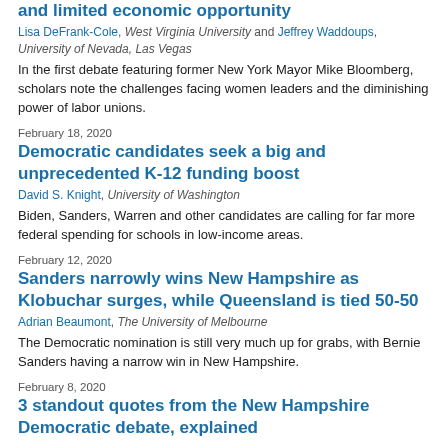and limited economic opportunity
Lisa DeFrank-Cole, West Virginia University and Jeffrey Waddoups, University of Nevada, Las Vegas
In the first debate featuring former New York Mayor Mike Bloomberg, scholars note the challenges facing women leaders and the diminishing power of labor unions.
February 18, 2020
Democratic candidates seek a big and unprecedented K-12 funding boost
David S. Knight, University of Washington
Biden, Sanders, Warren and other candidates are calling for far more federal spending for schools in low-income areas.
February 12, 2020
Sanders narrowly wins New Hampshire as Klobuchar surges, while Queensland is tied 50-50
Adrian Beaumont, The University of Melbourne
The Democratic nomination is still very much up for grabs, with Bernie Sanders having a narrow win in New Hampshire.
February 8, 2020
3 standout quotes from the New Hampshire Democratic debate, explained